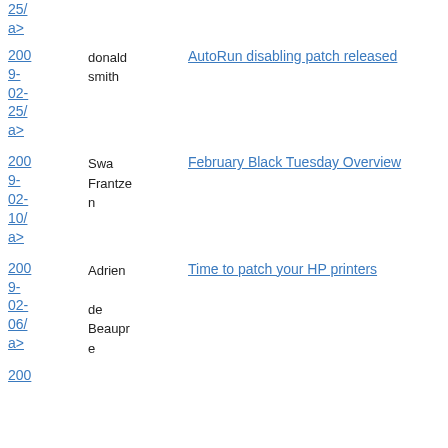2009-02-25/ a> donald smith AutoRun disabling patch released
2009-02-10/ a> Swa Frantzen February Black Tuesday Overview
2009-02-06/ a> Adrien de Beaupre Time to patch your HP printers
200